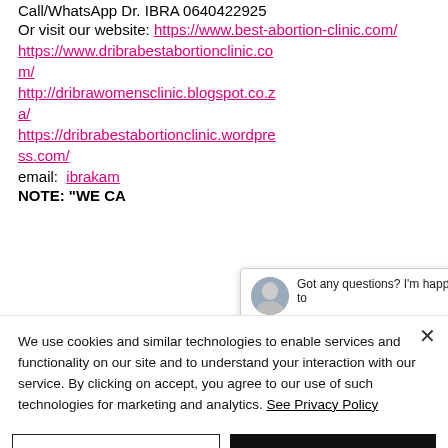Call/WhatsApp Dr. IBRA 0640422925
Or visit our website: https://www.best-abortion-clinic.com/
https://www.dribrabestabortionclinic.com/
http://dribrawomensclinic.blogspot.co.za/
https://dribrabestabortionclinic.wordpress.com/
email: ibrakam...
NOTE: “WE CA…
[Figure (screenshot): Chat popup with avatar image and text 'Got any questions? I'm happy to' with a close X button]
We use cookies and similar technologies to enable services and functionality on our site and to understand your interaction with our service. By clicking on accept, you agree to our use of such technologies for marketing and analytics. See Privacy Policy
Cookie Settings   Accept